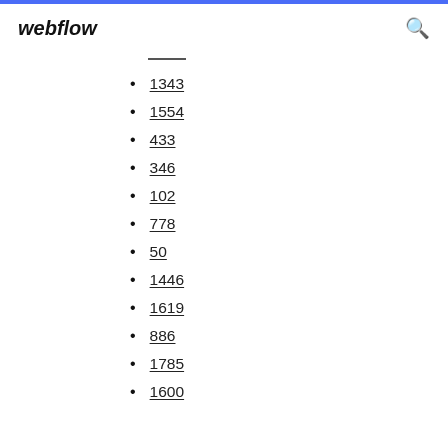webflow
1343
1554
433
346
102
778
50
1446
1619
886
1785
1600